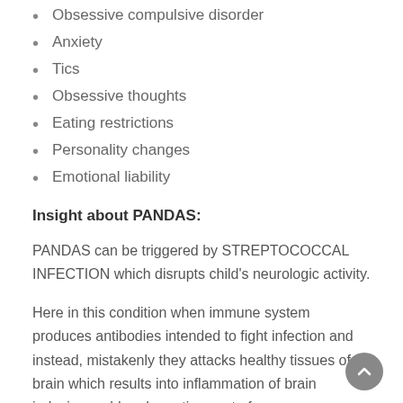Obsessive compulsive disorder
Anxiety
Tics
Obsessive thoughts
Eating restrictions
Personality changes
Emotional liability
Insight about PANDAS:
PANDAS can be triggered by STREPTOCOCCAL INFECTION which disrupts child's neurologic activity.
Here in this condition when immune system produces antibodies intended to fight infection and instead, mistakenly they attacks healthy tissues of brain which results into inflammation of brain inducing sudden dramatic onset of